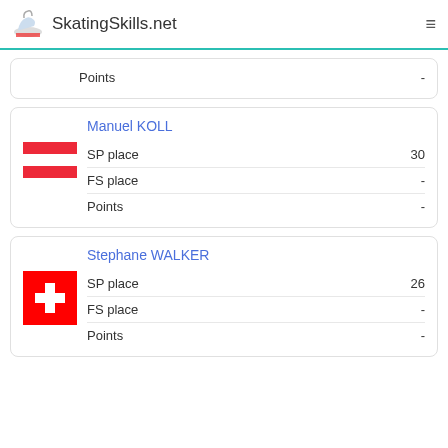SkatingSkills.net
|  |  |
| --- | --- |
| Points | - |
Manuel KOLL
|  |  |
| --- | --- |
| SP place | 30 |
| FS place | - |
| Points | - |
Stephane WALKER
|  |  |
| --- | --- |
| SP place | 26 |
| FS place | - |
| Points | - |